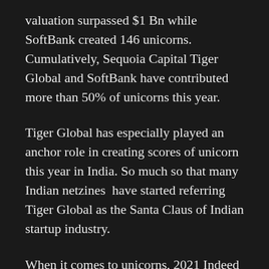valuation surpassed $1 Bn while SoftBank created 146 unicorns. Cumulatively, Sequoia Capital Tiger Global and SoftBank have contributed more than 50% of unicorns this year.
Tiger Global has especially played an anchor role in creating scores of unicorn this year in India. So much so that many Indian netzines  have started referring Tiger Global as the Santa Claus of Indian startup industry.
When it comes to unicorns, 2021 Indeed proved to be a prolific year for the Indian startups. India produced record-breaking 41 unicorns this year. 2021 also proved to be a milestone year as many high profile startups like Zomato, Paytm, Naykaa and PolicyBazaar became publicly listed